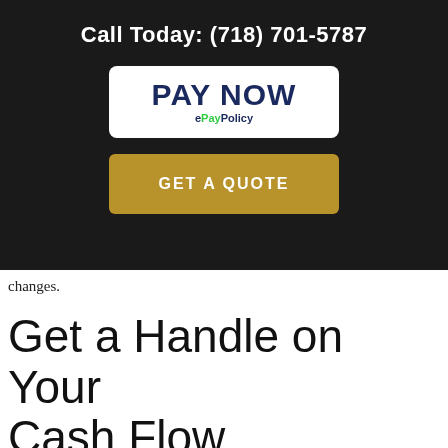Call Today: (718) 701-5787
[Figure (logo): PAY NOW button with ePayPolicy branding, white rounded rectangle button]
[Figure (other): GET A QUOTE gold/tan colored button]
changes.
Get a Handle on Your Cash Flow
Many businesses fail because of problems with cash